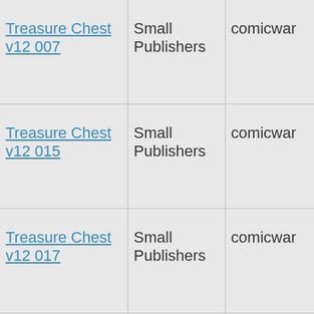| Title | Publisher | Uploader |
| --- | --- | --- |
| Treasure Chest v12 007 | Small Publishers | comicwar |
| Treasure Chest v12 015 | Small Publishers | comicwar |
| Treasure Chest v12 017 | Small Publishers | comicwar |
| Catholic Comics v3 #02 | Small Publishers | blasta |
| Treasure Chest v11 001 | Small Publishers | comicwar |
| Treasure Chest v11 002 | Small Publishers | comicwar |
| Treasure Chest v11 003 | Small Publishers | comicwar |